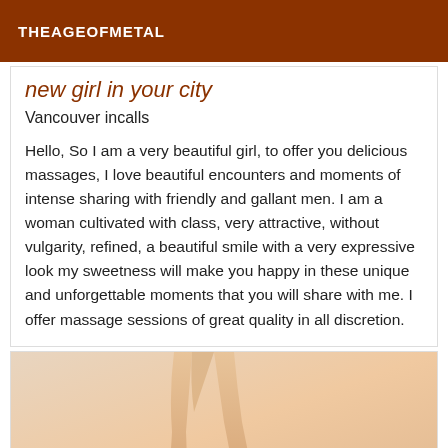THEAGEOFMETAL
new girl in your city
Vancouver incalls
Hello, So I am a very beautiful girl, to offer you delicious massages, I love beautiful encounters and moments of intense sharing with friendly and gallant men. I am a woman cultivated with class, very attractive, without vulgarity, refined, a beautiful smile with a very expressive look my sweetness will make you happy in these unique and unforgettable moments that you will share with me. I offer massage sessions of great quality in all discretion.
[Figure (photo): Photo showing legs of a woman wearing black high-heel shoes against a beige/peach background]